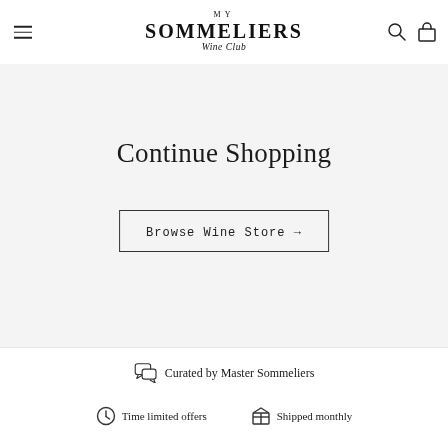[Figure (logo): My Sommeliers Wine Club logo with hamburger menu, search icon, and shopping bag icon in the header]
Continue Shopping
Browse Wine Store →
Curated by Master Sommeliers
Time limited offers
Shipped monthly